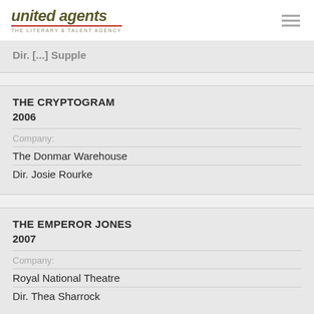united agents — THE LITERARY & TALENT AGENCY
Dir. [...] Supple (partially visible, cut off)
THE CRYPTOGRAM 2006 — Company: The Donmar Warehouse — Dir. Josie Rourke
THE EMPEROR JONES 2007 — Company: Royal National Theatre — Dir. Thea Sharrock
THE FOUND MAN 2005